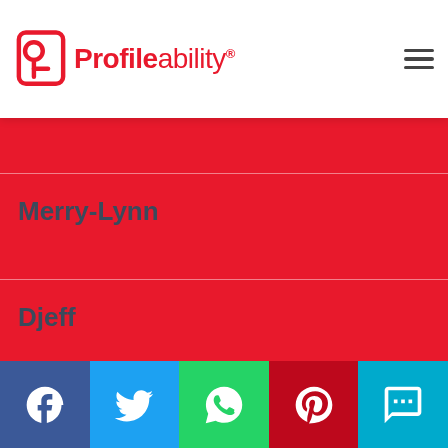Profileability
Merry-Lynn
Djeff
Masterkraft
[Figure (other): Social share bar with Facebook, Twitter, WhatsApp, Pinterest, and SMS icons]